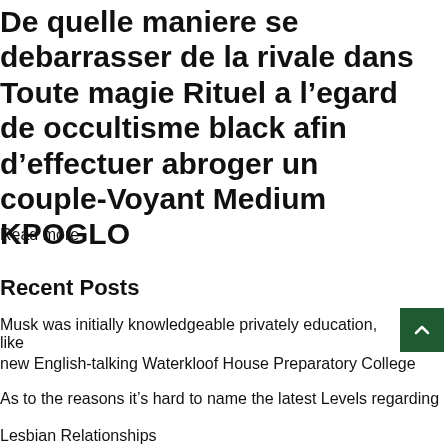De quelle maniere se debarrasser de la rivale dans Toute magie Rituel a l’egard de occultisme black afin d’effectuer abroger un couple-Voyant Medium KPOGLO
Read more
Recent Posts
Musk was initially knowledgeable privately education, like
new English-talking Waterkloof House Preparatory College
As to the reasons it’s hard to name the latest Levels regarding
Lesbian Relationships